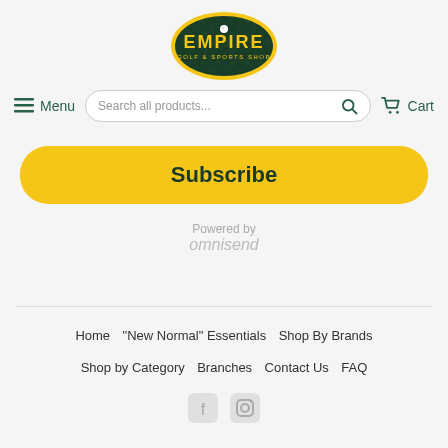[Figure (logo): Empire Golf & Sports Shop oval logo with gold text on dark green background]
Menu   Search all products...   Cart
Subscribe
Powered by omnisend
Home  "New Normal" Essentials  Shop By Brands  Shop by Category  Branches  Contact Us  FAQ